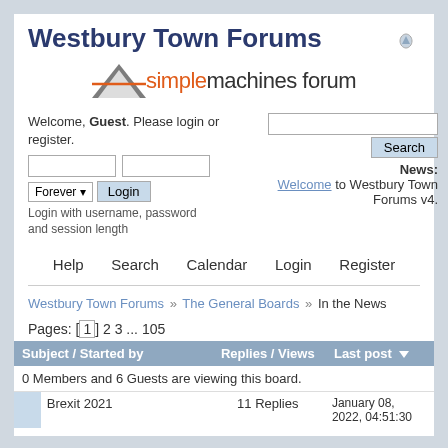Westbury Town Forums
[Figure (logo): Simple Machines Forum logo with triangle/arrow graphic and text 'simple machines forum']
Welcome, Guest. Please login or register.
Login with username, password and session length
News: Welcome to Westbury Town Forums v4.
Help  Search  Calendar  Login  Register
Westbury Town Forums » The General Boards » In the News
Pages: [1] 2 3 ... 105
| Subject / Started by | Replies / Views | Last post |
| --- | --- | --- |
| 0 Members and 6 Guests are viewing this board. |  |  |
| Brexit 2021 | 11 Replies | January 08, 2022, 04:51:30 |